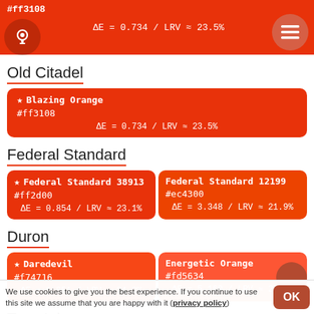#ff3108 | ΔE = 0.734 / LRV ≈ 23.5%
Old Citadel
★ Blazing Orange
#ff3108
ΔE = 0.734 / LRV ≈ 23.5%
Federal Standard
★ Federal Standard 38913
#ff2d00
ΔE = 0.854 / LRV ≈ 23.1%
Federal Standard 12199
#ec4300
ΔE = 3.348 / LRV ≈ 21.9%
Duron
★ Daredevil
#f74716
ΔE = 1.851 / LRV ≈ 24.3%
Energetic Orange
#fd5634
ΔE = 5.160 / LRV ≈ 27.8%
Toyo Ink
We use cookies to give you the best experience. If you continue to use this site we assume that you are happy with it (privacy policy)